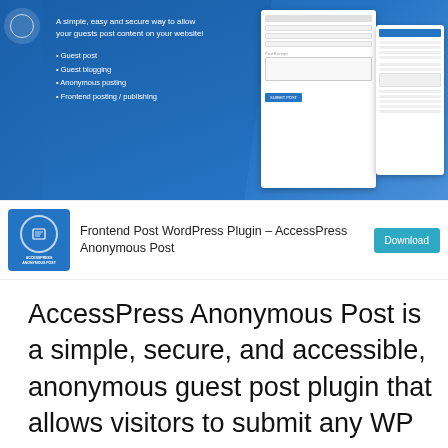[Figure (screenshot): Screenshot of AccessPress Anonymous Post WordPress plugin banner showing a blue gradient background with tagline, bullet list features, and form UI mockups]
A simple, easy and secure way to allow your guests post content on your website!
Guest post
Guest blogging
Anonymous posting
Frontend posting / publishing
Frontend Post WordPress Plugin – AccessPress Anonymous Post
Download
AccessPress Anonymous Post is a simple, secure, and accessible, anonymous guest post plugin that allows visitors to submit any WP post anonymously. It is the best-selling WordPress Guest Post Plugin. The WordPress posts are submitted in an easy and customized way.